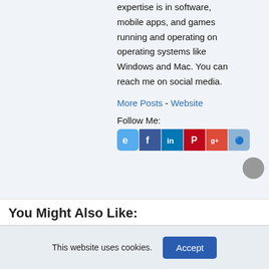expertise is in software, mobile apps, and games running and operating on operating systems like Windows and Mac. You can reach me on social media.
More Posts - Website
Follow Me:
[Figure (infographic): Row of social media icons: Twitter (blue bird), Facebook (blue f), LinkedIn (blue in), Pinterest (red P), Google+ (red g+), Reddit (light blue alien)]
You Might Also Like:
This website uses cookies.